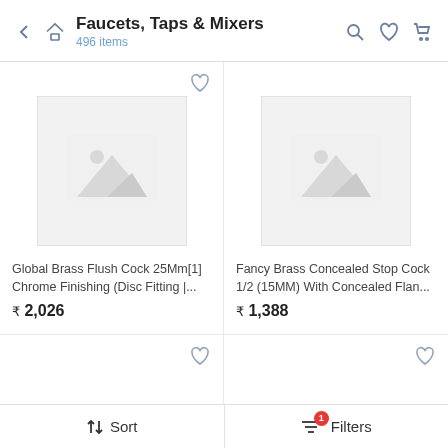Faucets, Taps & Mixers — 496 items
[Figure (screenshot): Product listing card for Global Brass Flush Cock 25Mm[1] Chrome Finishing (Disc Fitting |... with placeholder image, price ₹2,026]
[Figure (screenshot): Product listing card for Fancy Brass Concealed Stop Cock 1/2 (15MM) With Concealed Flan... with placeholder image, price ₹1,388]
↓↑ Sort | Filters (1)